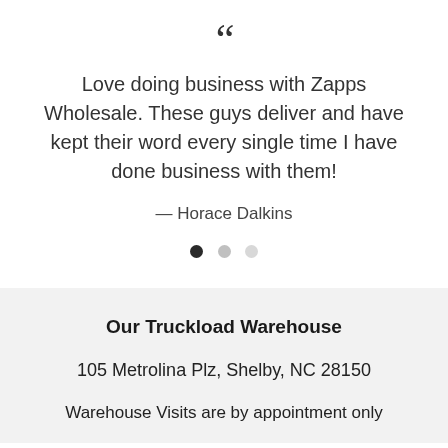[Figure (other): Large decorative open quotation mark symbol]
Love doing business with Zapps Wholesale. These guys deliver and have kept their word every single time I have done business with them!
— Horace Dalkins
[Figure (other): Carousel indicator dots: one filled dark, one medium gray, one light gray]
Our Truckload Warehouse
105 Metrolina Plz, Shelby, NC 28150
Warehouse Visits are by appointment only